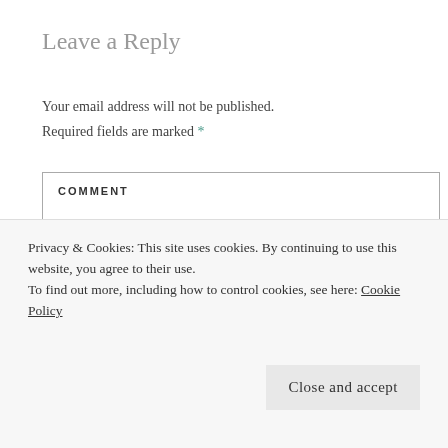Leave a Reply
Your email address will not be published. Required fields are marked *
COMMENT *
NAME *
Privacy & Cookies: This site uses cookies. By continuing to use this website, you agree to their use. To find out more, including how to control cookies, see here: Cookie Policy
Close and accept